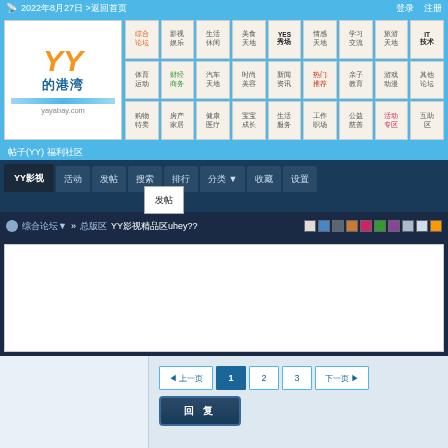2022年8月27日 >返回首页  登录  注册
[Figure (screenshot): YY的港湾 yayabay.com logo]
[Figure (screenshot): Navigation grid with Chinese category links]
帖子(YY) 福利社区
[Figure (screenshot): Tab navigation bar: YY影视 活动 发帖 搜索 排行 分类▼ 收藏 设置]
发帖
综合论坛▼ » 总版区 YY影视精品区uhey??
[Figure (screenshot): Color swatches row]
[Figure (screenshot): Pagination: 上一页 1 2 3 下一页]
回 复
kelly0420  加 发送短信  引用  » 1 #